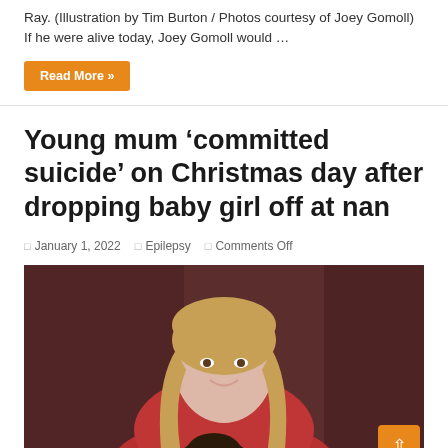Ray. (Illustration by Tim Burton / Photos courtesy of Joey Gomoll) If he were alive today, Joey Gomoll would …
Read More »
Young mum 'committed suicide' on Christmas day after dropping baby girl off at nan
January 1, 2022  Epilepsy  Comments Off
[Figure (photo): Photo of a young woman with long blonde hair, smiling, wearing a red top, holding a baby. Dark brownish-red background.]